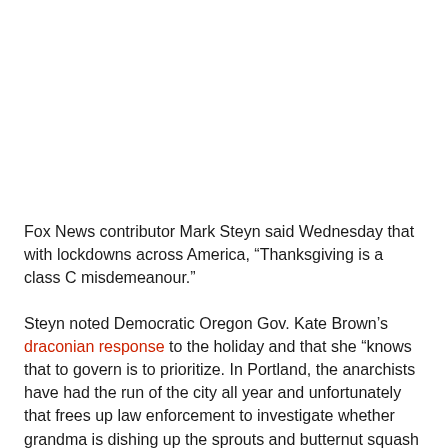Fox News contributor Mark Steyn said Wednesday that with lockdowns across America, “Thanksgiving is a class C misdemeanour.”
Steyn noted Democratic Oregon Gov. Kate Brown’s draconian response to the holiday and that she “knows that to govern is to prioritize. In Portland, the anarchists have had the run of the city all year and unfortunately that frees up law enforcement to investigate whether grandma is dishing up the sprouts and butternut squash for an illegal seventh diner,” he said as the guest host of Fox News’